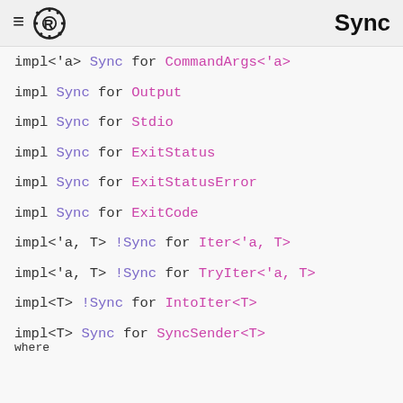Sync
impl<'a> Sync for CommandArgs<'a>
impl Sync for Output
impl Sync for Stdio
impl Sync for ExitStatus
impl Sync for ExitStatusError
impl Sync for ExitCode
impl<'a, T> !Sync for Iter<'a, T>
impl<'a, T> !Sync for TryIter<'a, T>
impl<T> !Sync for IntoIter<T>
impl<T> Sync for SyncSender<T> where